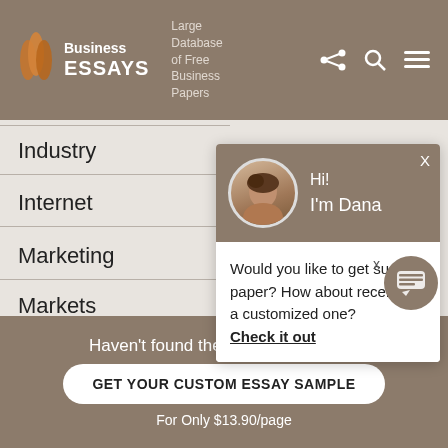Business Essays — Large Database of Free Business Papers
Industry
Internet
Marketing
Markets
Technology
[Figure (screenshot): Chat popup with avatar photo of Dana, greeting Hi! I'm Dana, and message: Would you like to get such a paper? How about receiving a customized one? Check it out]
Haven't found the Essay You Want? GET YOUR CUSTOM ESSAY SAMPLE For Only $13.90/page